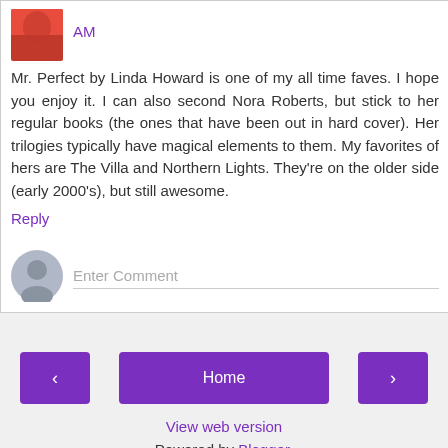AM
Mr. Perfect by Linda Howard is one of my all time faves. I hope you enjoy it. I can also second Nora Roberts, but stick to her regular books (the ones that have been out in hard cover). Her trilogies typically have magical elements to them. My favorites of hers are The Villa and Northern Lights. They're on the older side (early 2000's), but still awesome.
Reply
Enter Comment
Home
View web version
Powered by Blogger.